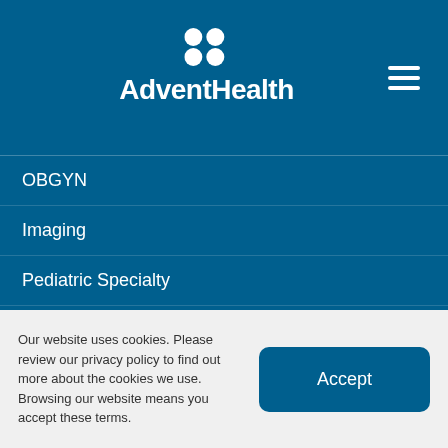[Figure (logo): AdventHealth logo with white four-petal flower icon above text 'AdventHealth' on dark blue background]
OBGYN
Imaging
Pediatric Specialty
Physical Therapy
Lab
Health and Wellness
Home Care
Our website uses cookies. Please review our privacy policy to find out more about the cookies we use. Browsing our website means you accept these terms.